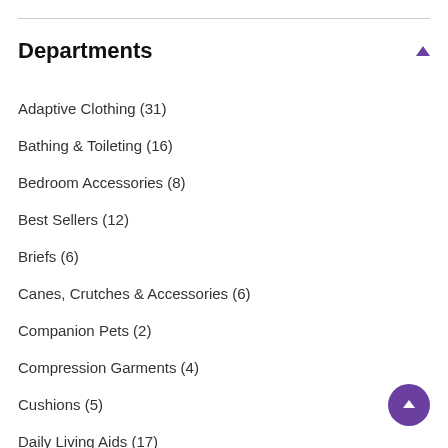Departments
Adaptive Clothing (31)
Bathing & Toileting (16)
Bedroom Accessories (8)
Best Sellers (12)
Briefs (6)
Canes, Crutches & Accessories (6)
Companion Pets (2)
Compression Garments (4)
Cushions (5)
Daily Living Aids (17)